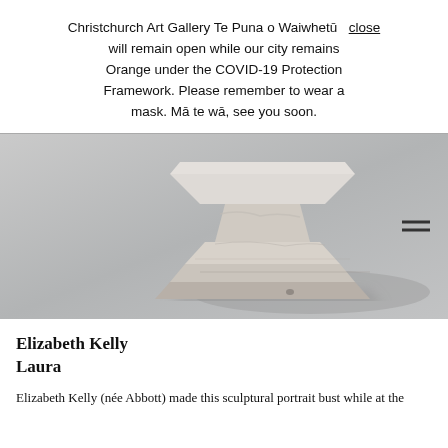Christchurch Art Gallery Te Puna o Waiwhetū will remain open while our city remains Orange under the COVID-19 Protection Framework. Please remember to wear a mask. Mā te wā, see you soon. close
[Figure (photo): Close-up photograph of the base/pedestal of a sculpture bust on a grey background. The pedestal is a rough-textured stone or ceramic material, octagonal/square base with tiered steps, weathered white-grey color with dark streaks.]
Elizabeth Kelly
Laura
Elizabeth Kelly (née Abbott) made this sculptural portrait bust while at the